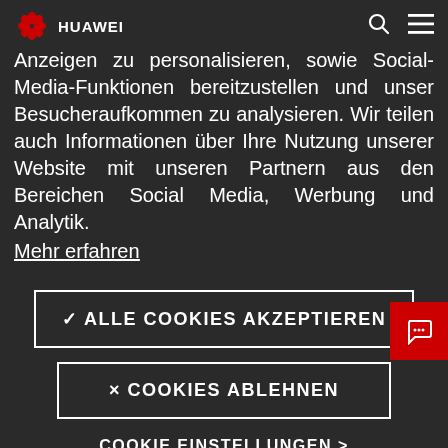HUAWEI
Wir verwenden Cookies, um Inhalte und Anzeigen zu personalisieren, sowie Social-Media-Funktionen bereitzustellen und unser Besucheraufkommen zu analysieren. Wir teilen auch Informationen über Ihre Nutzung unserer Website mit unseren Partnern aus den Bereichen Social Media, Werbung und Analytik. Mehr erfahren
✓ ALLE COOKIES AKZEPTIEREN
× COOKIES ABLEHNEN
COOKIE EINSTELLUNGEN >